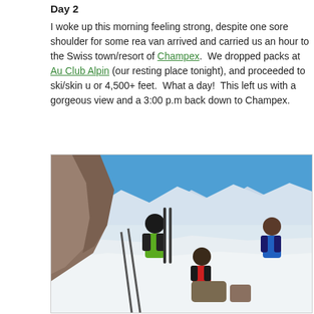Day 2
I woke up this morning feeling strong, despite one sore shoulder for some reason. A van arrived and carried us an hour to the Swiss town/resort of Champex. We dropped packs at Au Club Alpin (our resting place tonight), and proceeded to ski/skin up ~1,400m or 4,500+ feet. What a day! This left us with a gorgeous view and a 3:00 p.m. ski back down to Champex.
[Figure (photo): Skiers on a snowy mountain summit with rocky cliffs and alpine peaks in the background. One person in a green jacket holds ski equipment, another in red crouches adjusting gear, and a third in a blue jacket stands smiling. Ski poles and equipment are visible in the foreground.]